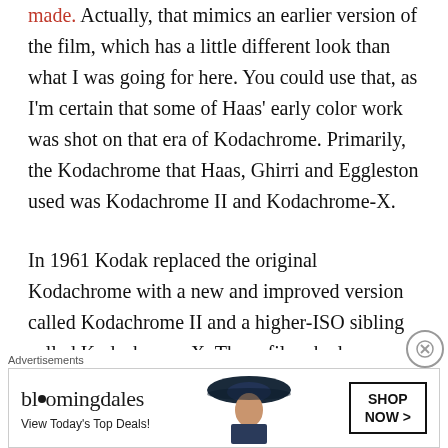made. Actually, that mimics an earlier version of the film, which has a little different look than what I was going for here. You could use that, as I'm certain that some of Haas' early color work was shot on that era of Kodachrome. Primarily, the Kodachrome that Haas, Ghirri and Eggleston used was Kodachrome II and Kodachrome-X.
In 1961 Kodak replaced the original Kodachrome with a new and improved version called Kodachrome II and a higher-ISO sibling called Kodachrome-X. These films had more accurate color, finer grain and
[Figure (other): Bloomingdale's advertisement banner with logo, 'View Today's Top Deals!' tagline, a woman wearing a large dark hat, and a 'SHOP NOW >' button]